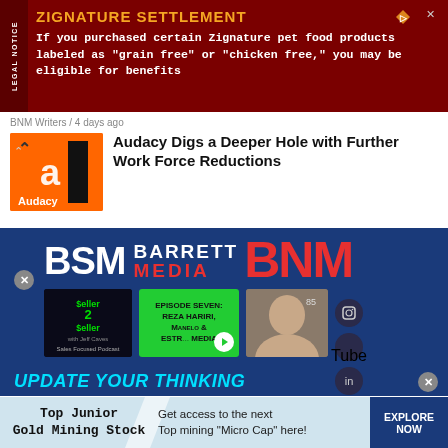[Figure (screenshot): Advertisement banner: ZIGNATURE SETTLEMENT - dark red background with legal notice sidebar. Text: 'If you purchased certain Zignature pet food products labeled as "grain free" or "chicken free," you may be eligible for benefits']
BNM Writers / 4 days ago
Audacy Digs a Deeper Hole with Further Work Force Reductions
[Figure (screenshot): Barrett Sports Media / BNM advertisement banner with BSM logo, Barrett Media text, and BNM in red. Contains podcast episode thumbnail, episode seven Reza Hariri content, social media icons for Instagram, YouTube, LinkedIn. Text: UPDATE YOUR THINKING]
[Figure (screenshot): Bottom advertisement: Top Junior Gold Mining Stock - Get access to the next Top mining 'Micro Cap' here! EXPLORE NOW button]